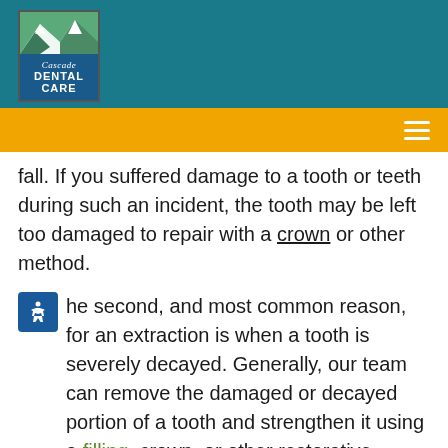[Figure (logo): Cascade Dental Care logo with mountain graphic and teal background]
fall. If you suffered damage to a tooth or teeth during such an incident, the tooth may be left too damaged to repair with a crown or other method.
The second, and most common reason, for an extraction is when a tooth is severely decayed. Generally, our team can remove the damaged or decayed portion of a tooth and strengthen it using a filling, crown, or other restorative procedure. Unfortunately, the presence of severe decay may make this impractical and subject you to unnecessary discomfort.